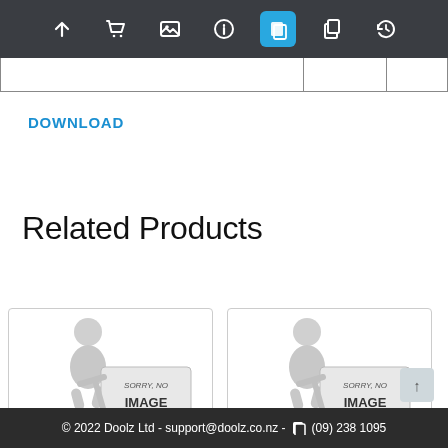Navigation bar with icons: up arrow, cart, gallery, info, pages (active/highlighted), copy, history
|  |   |   |
DOWNLOAD
Related Products
[Figure (photo): Two product cards side by side, each showing a 3D figure holding a sign that reads SORRY, NO IMAGE AVAILABLE]
© 2022 Doolz Ltd - support@doolz.co.nz - (09) 238 1095